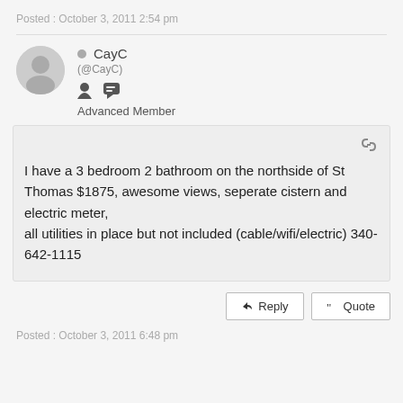Posted : October 3, 2011 2:54 pm
CayC (@CayC) Advanced Member
I have a 3 bedroom 2 bathroom on the northside of St Thomas $1875, awesome views, seperate cistern and electric meter,
all utilities in place but not included (cable/wifi/electric) 340-642-1115
Posted : October 3, 2011 6:48 pm